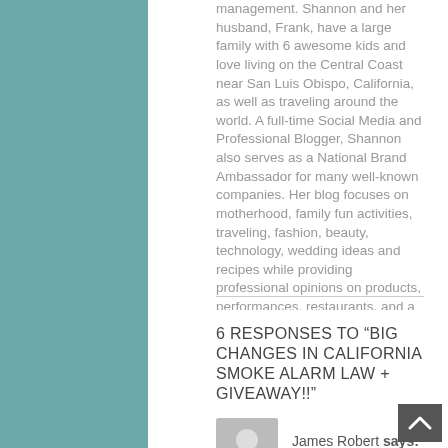management. Shannon and her husband, Frank, have a large family with 6 awesome kids and love living on the Central Coast near San Luis Obispo, California, as well as traveling around the world. A full-time Social Media and Professional Blogger, Shannon also serves as a National Brand Ambassador for many well-known companies. Her blog focuses on motherhood, family fun activities, traveling, fashion, beauty, technology, wedding ideas and recipes while providing professional opinions on products, performances, restaurants, and a variety of businesses.
6 RESPONSES TO “BIG CHANGES IN CALIFORNIA SMOKE ALARM LAW + GIVEAWAY!!”
James Robert says: